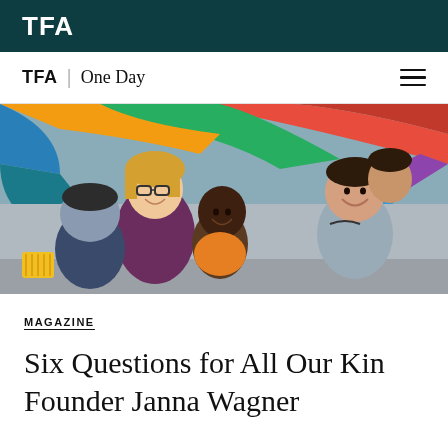TFA
TFA | One Day
[Figure (photo): A smiling teacher with glasses and blonde hair plays with several young children under a colorful parachute in a classroom setting. Children of different ethnicities are laughing and smiling.]
MAGAZINE
Six Questions for All Our Kin Founder Janna Wagner